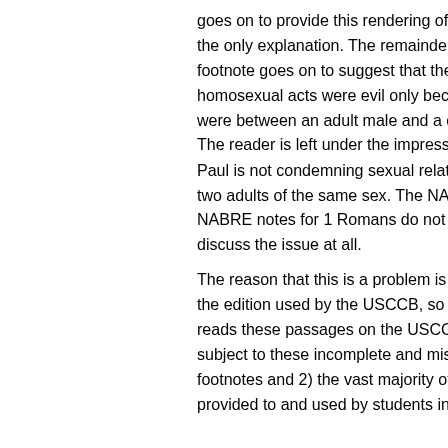goes on to provide this rendering of the word as the only explanation. The remainder of the footnote goes on to suggest that these homosexual acts were evil only because they were between an adult male and a child male. The reader is left under the impression that St. Paul is not condemning sexual relations between two adults of the same sex. The NAB and NABRE notes for 1 Romans do not directly discuss the issue at all. The reason that this is a problem is 1) the NAB is the edition used by the USCCB, so anybody who reads these passages on the USCCB website is subject to these incomplete and misleading footnotes and 2) the vast majority of Bibles provided to and used by students in